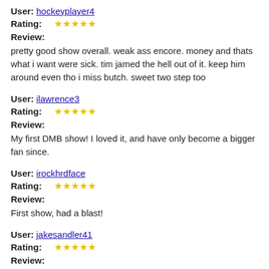User: hockeyplayer4
Rating: ★★★★★
Review:
pretty good show overall. weak ass encore. money and thats what i want were sick. tim jamed the hell out of it. keep him around even tho i miss butch. sweet two step too
User: ilawrence3
Rating: ★★★★★
Review:
My first DMB show! I loved it, and have only become a bigger fan since.
User: irockhrdface
Rating: ★★★★★
Review:
First show, had a blast!
User: jakesandler41
Rating: ★★★★★
Review:
Everyday - really got the crowd into it. Fun song and cool intro with the screens.